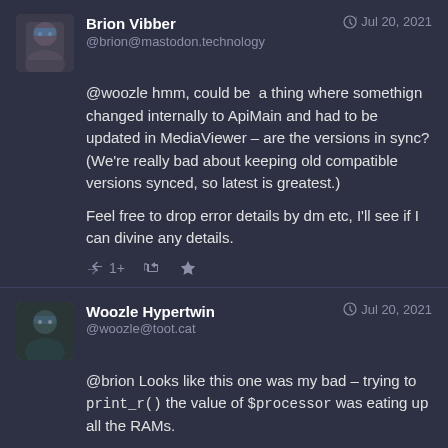[Figure (photo): Avatar of Brion Vibber, a person with glasses and dark background]
Brion Vibber
@brion@mastodon.technology
Jul 20, 2021
@woozle hmm, could be  a thing where somethign changed internally to ApiMain and had to be updated in MediaViewer – are the versions in sync? (We're really bad about keeping old compatible versions synced, so latest is greatest.)
Feel free to drop error details by dm etc, I'll see if I can divine any details.
[Figure (photo): Avatar of Woozle Hypertwin, a person with glasses]
Woozle Hypertwin
@woozle@toot.cat
Jul 20, 2021
@brion Looks like this one was my bad – trying to print_r() the value of $processor was eating up all the RAMs.